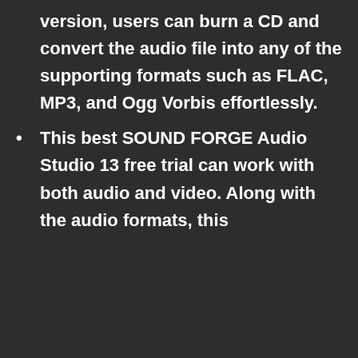version, users can burn a CD and convert the audio file into any of the supporting formats such as FLAC, MP3, and Ogg Vorbis effortlessly.
This best SOUND FORGE Audio Studio 13 free trial can work with both audio and video. Along with the audio formats, this